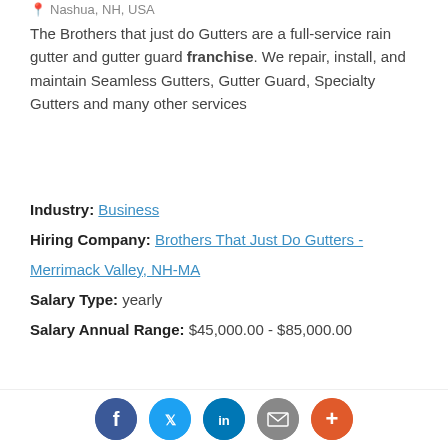Nashua, NH, USA
The Brothers that just do Gutters are a full-service rain gutter and gutter guard franchise. We repair, install, and maintain Seamless Gutters, Gutter Guard, Specialty Gutters and many other services
Industry: Business
Hiring Company: Brothers That Just Do Gutters - Merrimack Valley, NH-MA
Salary Type: yearly
Salary Annual Range: $45,000.00 - $85,000.00
APPLY NOW
RESTORATION PROJECT MANAGER/ESTIMATOR
Posted: 21 days ago
Claremont, NH, USA
[Figure (other): Social sharing icons: Facebook, Twitter, LinkedIn, Email, More (+)]